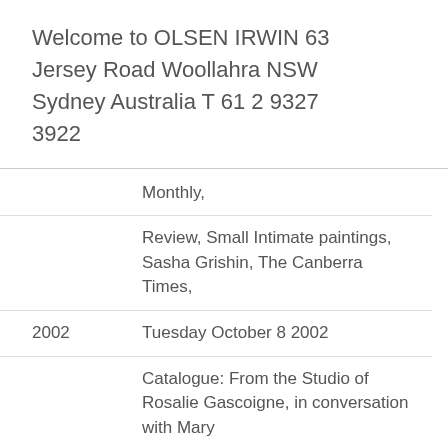Welcome to OLSEN IRWIN 63 Jersey Road Woollahra NSW Sydney Australia T 61 2 9327 3922
Monthly,
Review, Small Intimate paintings, Sasha Grishin, The Canberra Times,
2002   Tuesday October 8 2002
Catalogue: From the Studio of Rosalie Gascoigne, in conversation with Mary
Catalogue AbstractionExhibition, Tim Olsen